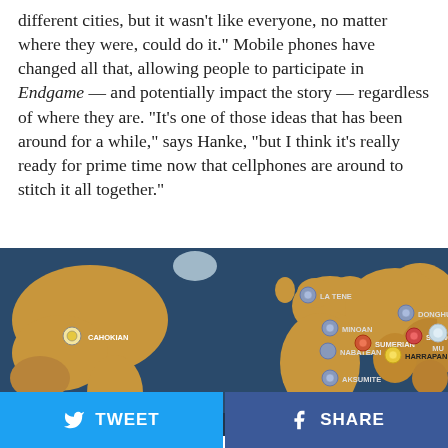different cities, but it wasn't like everyone, no matter where they were, could do it." Mobile phones have changed all that, allowing people to participate in Endgame — and potentially impact the story — regardless of where they are. "It's one of those ideas that has been around for a while," says Hanke, "but I think it's really ready for prime time now that cellphones are around to stitch it all together."
[Figure (map): World map showing ancient civilizations including Cahokian, La Tene, Minoan, Nabatean, Sumerian, Aksumite, Donghu, Shang, Harrapan, and Mu marked with circular icons on a stylized golden/brown and blue world map.]
TWEET
SHARE